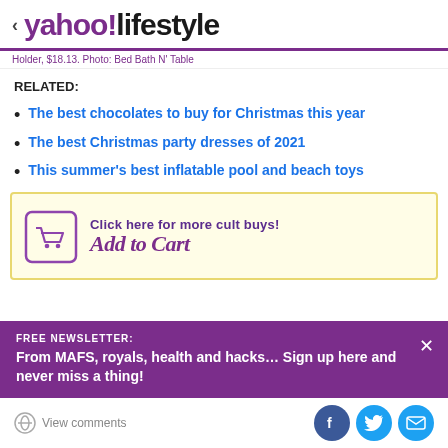< yahoo!lifestyle
Holder, $18.13. Photo: Bed Bath N' Table
RELATED:
The best chocolates to buy for Christmas this year
The best Christmas party dresses of 2021
This summer's best inflatable pool and beach toys
[Figure (illustration): Yellow banner with shopping cart icon and text 'Click here for more cult buys!' and stylized 'Add to Cart' text]
FREE NEWSLETTER:
From MAFS, royals, health and hacks... Sign up here and never miss a thing!
View comments | Share on Facebook | Share on Twitter | Share via Email